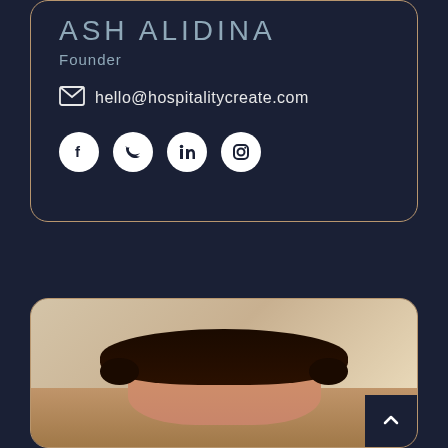ASH ALIDINA
Founder
hello@hospitalitycreate.com
[Figure (illustration): Social media icons: Facebook, Twitter, LinkedIn, Instagram — white icons on dark circular backgrounds]
[Figure (photo): Photo of a man with dark curly hair, appears to be indoors]